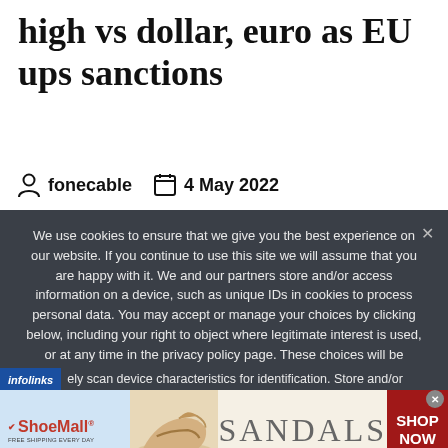high vs dollar, euro as EU ups sanctions
fonecable   4 May 2022
We use cookies to ensure that we give you the best experience on our website. If you continue to use this site we will assume that you are happy with it. We and our partners store and/or access information on a device, such as unique IDs in cookies to process personal data. You may accept or manage your choices by clicking below, including your right to object where legitimate interest is used, or at any time in the privacy policy page. These choices will be signalled to our partners and will not affect browsing data. We and our partners process data to provide: Use precise geolocation data. ely scan device characteristics for identification. Store and/or
[Figure (advertisement): ShoeMall advertisement banner showing sandals with SHOP NOW button]